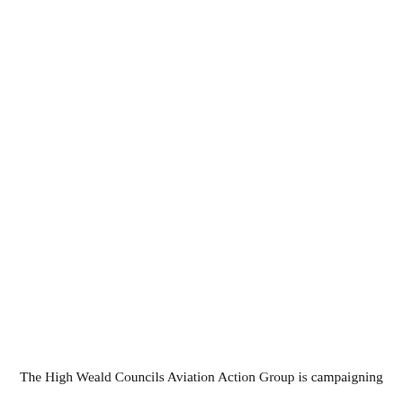The High Weald Councils Aviation Action Group is campaigning